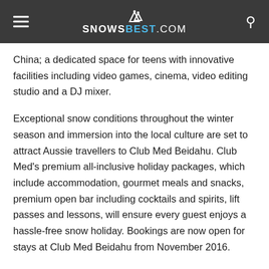SNOWSBEST.COM
China; a dedicated space for teens with innovative facilities including video games, cinema, video editing studio and a DJ mixer.
Exceptional snow conditions throughout the winter season and immersion into the local culture are set to attract Aussie travellers to Club Med Beidahu. Club Med's premium all-inclusive holiday packages, which include accommodation, gourmet meals and snacks, premium open bar including cocktails and spirits, lift passes and lessons, will ensure every guest enjoys a hassle-free snow holiday. Bookings are now open for stays at Club Med Beidahu from November 2016.
Beidahu is the second Chinese Club Med ski Resort and the